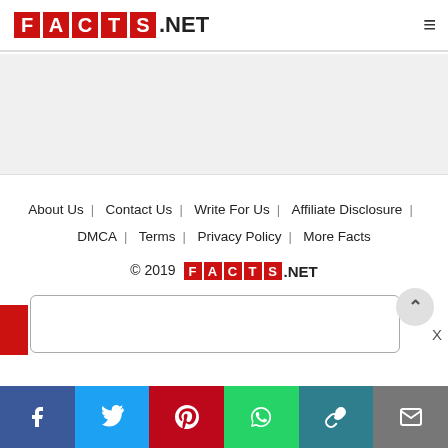FACTS.NET
[Figure (other): Gray advertisement placeholder area]
About Us | Contact Us | Write For Us | Affiliate Disclosure | DMCA | Terms | Privacy Policy | More Facts
© 2019 FACTS.NET
[Figure (other): Search input box with rounded border]
[Figure (other): Scroll to top button (chevron up), red left strip, X close button]
[Figure (other): Social share bar: Facebook, Twitter, Pinterest, WhatsApp, Link, Email]